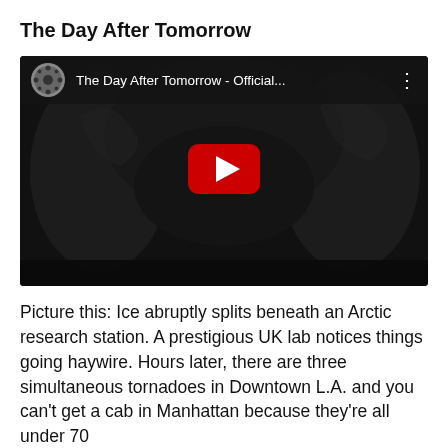The Day After Tomorrow
[Figure (screenshot): YouTube video embed showing 'The Day After Tomorrow - Official...' with a film reel icon thumbnail, dark movie scene background, and YouTube play button in the center.]
Picture this: Ice abruptly splits beneath an Arctic research station. A prestigious UK lab notices things going haywire. Hours later, there are three simultaneous tornadoes in Downtown L.A. and you can't get a cab in Manhattan because they're all under 70